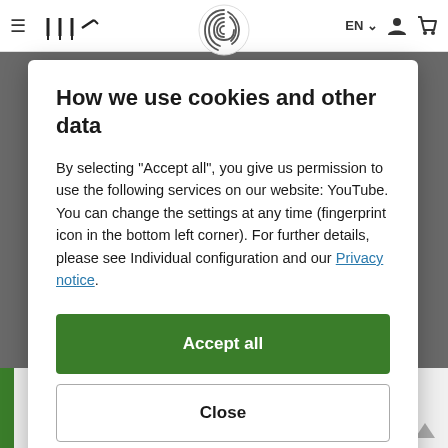EN  ☰ [logo] [fingerprint icon] [user icon] [cart icon]
How we use cookies and other data
By selecting "Accept all", you give us permission to use the following services on our website: YouTube. You can change the settings at any time (fingerprint icon in the bottom left corner). For further details, please see Individual configuration and our Privacy notice.
Accept all
Close
Configuration